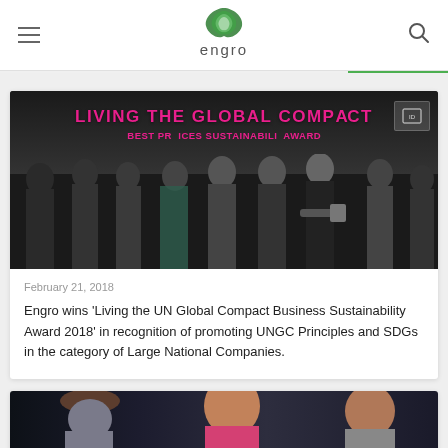engro
[Figure (photo): Group of people at an award ceremony with banner reading 'LIVING THE GLOBAL COMPACT BEST PRACTICES SUSTAINABILITY AWARD']
February 21, 2018
Engro wins 'Living the UN Global Compact Business Sustainability Award 2018' in recognition of promoting UNGC Principles and SDGs in the category of Large National Companies.
[Figure (photo): Partially visible photo at bottom of page showing people at an event]